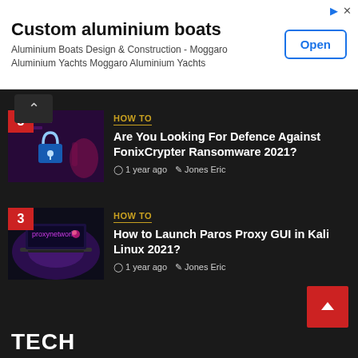[Figure (screenshot): Advertisement banner for Custom aluminium boats - Aluminium Boats Design & Construction - Moggaro Aluminium Yachts with Open button]
Custom aluminium boats
Aluminium Boats Design & Construction - Moggaro Aluminium Yachts Moggaro Aluminium Yachts
How To
Are You Looking For Defence Against FonixCrypter Ransomware 2021?
1 year ago   Jones Eric
How To
How to Launch Paros Proxy GUI in Kali Linux 2021?
1 year ago   Jones Eric
TECH